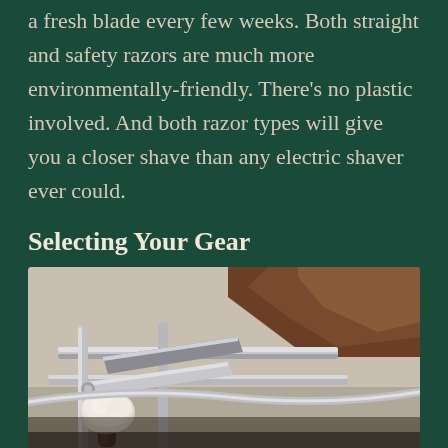a fresh blade every few weeks. Both straight and safety razors are much more environmentally-friendly. There's no plastic involved. And both razor types will give you a closer shave than any electric shaver ever could.
Selecting Your Gear
[Figure (photo): Close-up photo of shaving gear including a straight razor and shaving brush with cream, on a metal rack, warm brown leather strop visible in background]